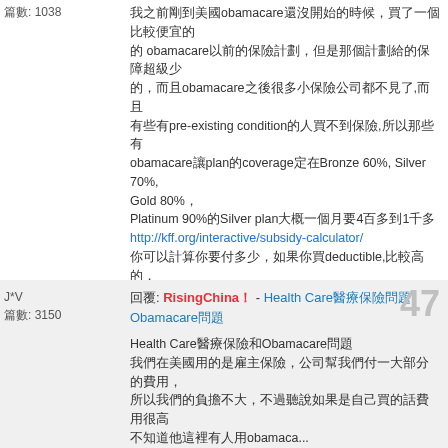篇數: 1038
我之前剛到美國obamacare還沒開始的時候，買了一個比較便宜的 obamacare以前的保險計劃，但是那個計劃給的保障超級少的，而且obamacare之後很多小保險公司都不見了,而且有些有pre-existing condition的人買不到保險,所以obamacare讓plan的coverage定在Bronze 60%, Silver 70%, Gold 80%，Platinum 90%的Silver plan大概一個月要4百多到1千多 http://kff.org/interactive/subsidy-calculator/ 你可以計算你要付多少，如果你買deductible,比較高的，繳費比較少，如果你買deductible比較低的，繳費比較多
我的coverage是從obamacare保險公司買的，但是那個coverage是employer sponsored的，公司幫我出一大部分
不知道他這裡有人用obamaca... 更多
J*V
篇數: 3150
回覆: RisingChina！ - Health Care醫療保險問題 Obamacare問題
Health Care醫療保險和Obamacare問題，我們在美國用的是雇主保險，公司幫我們付一大部分的費用，所以我們的負擔不大，不過聽說如果是自己買的話費用很高